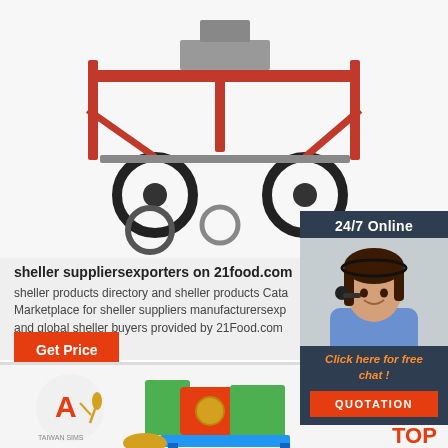[Figure (photo): Red agricultural farm machinery/planter equipment on white background]
sheller suppliersexporters on 21food.com
sheller products directory and sheller products Cata Marketplace for sheller suppliers manufacturersexp and global sheller buyers provided by 21Food.com
[Figure (photo): 24/7 Online customer service agent – woman with headset smiling]
Click here for free chat !
QUOTATION
[Figure (photo): Bottom product listing showing company logo (A with wheat), colorful grain sheller machine, and TOP badge]
Get Price